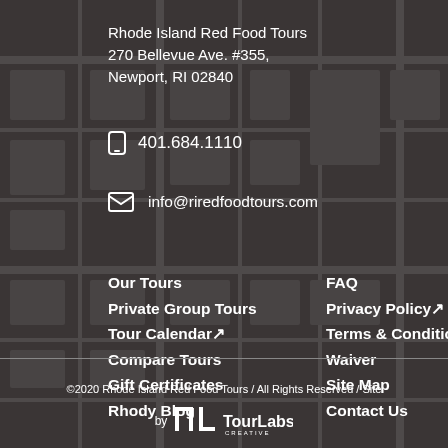Rhode Island Red Food Tours
270 Bellevue Ave. #355,
Newport, RI 02840
401.684.1110
info@riredfoodtours.com
Our Tours
Private Group Tours
Tour Calendar↗
Compare Tours
Gift Certificates
Rhody Blog
FAQ
Privacy Policy↗
Terms & Conditions
Waiver
Site Map
Contact Us
©2020 Rhode Island Red Food Tours / All Rights Reserved / Site by Tour Labs Creative